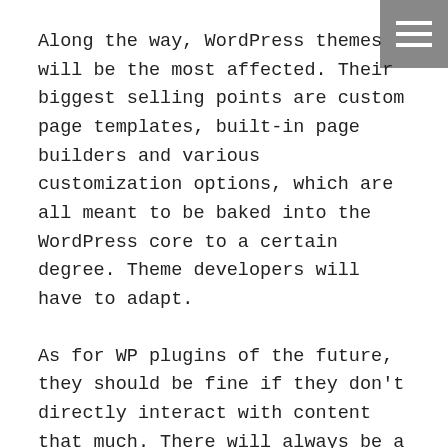Along the way, WordPress themes will be the most affected. Their biggest selling points are custom page templates, built-in page builders and various customization options, which are all meant to be baked into the WordPress core to a certain degree. Theme developers will have to adapt.
As for WP plugins of the future, they should be fine if they don't directly interact with content that much. There will always be a need to extend WP's functionality, regardless of how the content building process works.
Further reading